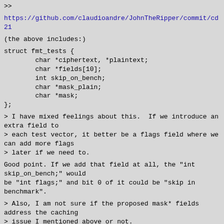>>
https://github.com/claudioandre/JohnTheRipper/commit/cd21
(the above includes:)
struct fmt_tests {
	char *ciphertext, *plaintext;
	char *fields[10];
	int skip_on_bench;
	char *mask_plain;
	char *mask;
};
> I have mixed feelings about this.  If we introduce an extra field to
> each test vector, it better be a flags field where we can add more flags
> later if we need to.
Good point. If we add that field at all, the "int skip_on_bench;" would
be "int flags;" and bit 0 of it could be "skip in benchmark".
> Also, I am not sure if the proposed mask* fields address the caching
> issue I mentioned above or not.
Instead of re-using a few different plaintexts over and over again, we